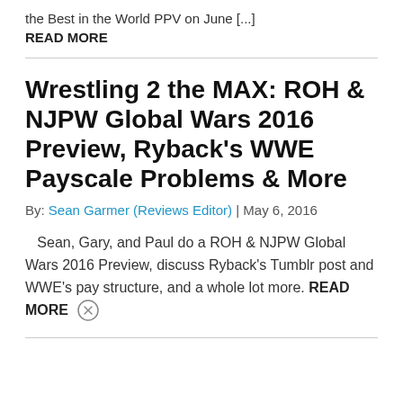the Best in the World PPV on June [...]
READ MORE
Wrestling 2 the MAX: ROH & NJPW Global Wars 2016 Preview, Ryback's WWE Payscale Problems & More
By: Sean Garmer (Reviews Editor) | May 6, 2016
Sean, Gary, and Paul do a ROH & NJPW Global Wars 2016 Preview, discuss Ryback's Tumblr post and WWE's pay structure, and a whole lot more. READ MORE